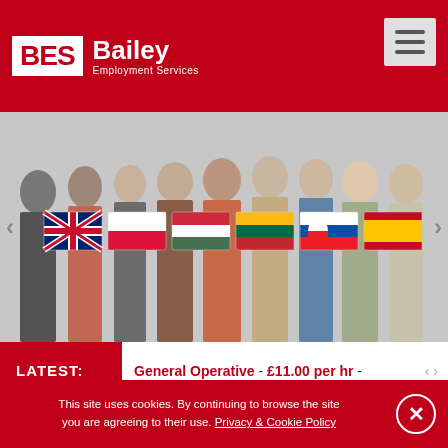[Figure (logo): BES Bailey Employment Services logo — white BES text in red box, white Bailey and Employment Services text on red background, hamburger menu button top right]
[Figure (photo): Group of business professionals standing together, with country flag icons overlaid: UK, Poland, Hungary, Lithuania, Slovakia, Spain. Left and right carousel arrows visible.]
LATEST: General Operative - £11.00 per hr -
Home › Candidates
job search
Candidates
This site uses cookies. By continuing to browse the site you are agreeing to their use. Privacy & Cookie Policy